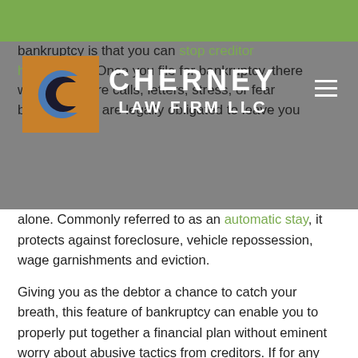Cherney Law Firm LLC
[Figure (logo): Cherney Law Firm LLC logo with orange background, blue C lettermark, and white text reading CHERNEY / LAW FIRM LLC overlaid on a gray navigation bar]
bankruptcy is that you can stop creditor harassment. Once you file for bankruptcy, there will be no more calls, letters, stress, or fear because they are legally obligated to leave you alone. Commonly referred to as an automatic stay, it protects against foreclosure, vehicle repossession, wage garnishments and eviction.
Giving you as the debtor a chance to catch your breath, this feature of bankruptcy can enable you to properly put together a financial plan without eminent worry about abusive tactics from creditors. If for any reason a debt collector violates this policy, it could result in huge fines and they could find themselves in contempt of court.